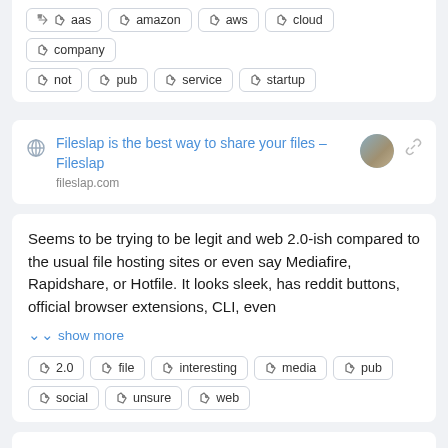aas  amazon  aws  cloud  company  not  pub  service  startup
Fileslap is the best way to share your files – Fileslap
fileslap.com
Seems to be trying to be legit and web 2.0-ish compared to the usual file hosting sites or even say Mediafire, Rapidshare, or Hotfile. It looks sleek, has reddit buttons, official browser extensions, CLI, even
show more
2.0  file  interesting  media  pub  social  unsure  web
Welcome to MyRepoSpace.com –